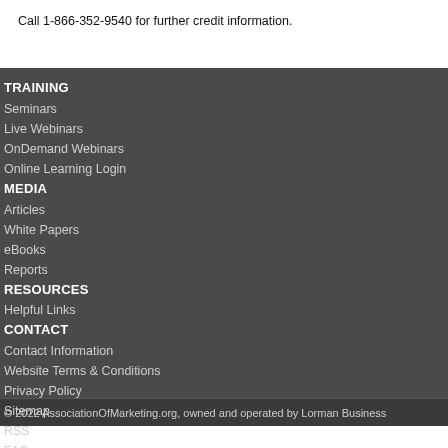Call 1-866-352-9540 for further credit information.
TRAINING
Seminars
Live Webinars
OnDemand Webinars
Online Learning Login
MEDIA
Articles
White Papers
eBooks
Reports
RESOURCES
Helpful Links
CONTACT
Contact Information
Website Terms & Conditions
Privacy Policy
Sitemap
RSS
FAQ
Sponsorship and Advertising
© 2022 AssociationOfMarketing.org, owned and operated by Lorman Business